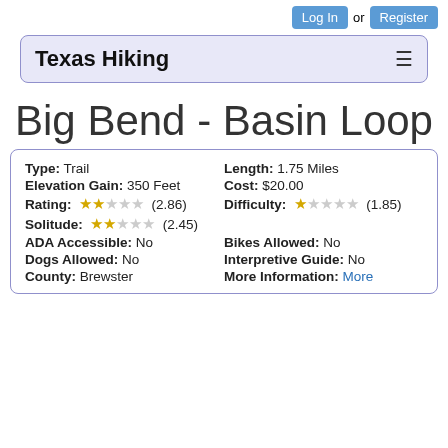Log In or Register
Texas Hiking
Big Bend - Basin Loop
| Type: | Trail | Length: | 1.75 Miles |
| Elevation Gain: | 350 Feet | Cost: | $20.00 |
| Rating: | ★★☆☆☆ (2.86) | Difficulty: | ★☆☆☆☆ (1.85) |
| Solitude: | ★★☆☆☆ (2.45) |  |  |
| ADA Accessible: | No | Bikes Allowed: | No |
| Dogs Allowed: | No | Interpretive Guide: | No |
| County: | Brewster | More Information: | More |